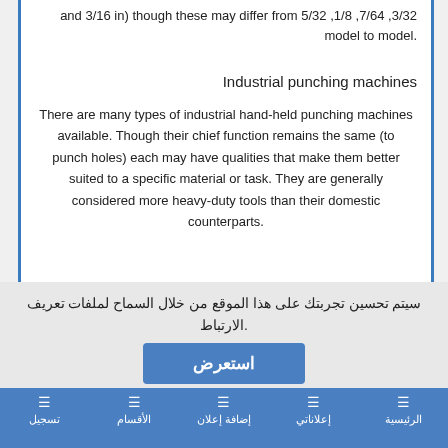3/32, 7/64, 1/8, 5/32 and 3/16 in) though these may differ from model to model.
Industrial punching machines
There are many types of industrial hand-held punching machines available. Though their chief function remains the same (to punch holes) each may have qualities that make them better suited to a specific material or task. They are generally considered more heavy-duty tools than their domestic counterparts.
سيتم تحسين تجربتك على هذا الموقع من خلال السماح لملفات تعريف الارتباط.
استعرض
الرئيسية | إعلاناتي | إضافة إعلان | الأقسام | تسجيل